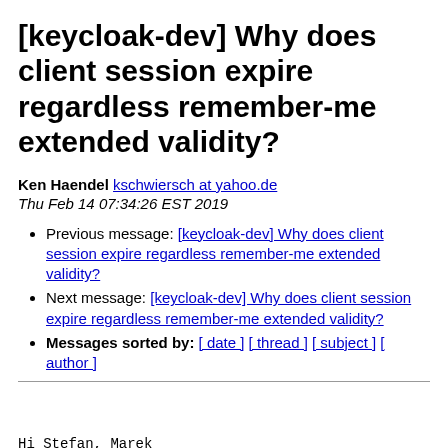[keycloak-dev] Why does client session expire regardless remember-me extended validity?
Ken Haendel kschwiersch at yahoo.de
Thu Feb 14 07:34:26 EST 2019
Previous message: [keycloak-dev] Why does client session expire regardless remember-me extended validity?
Next message: [keycloak-dev] Why does client session expire regardless remember-me extended validity?
Messages sorted by: [ date ] [ thread ] [ subject ] [ author ]
Hi Stefan, Marek
Thank you for your quick reply.
I have recently tested your pull request [1], if that fix
with the expired client session cache and it does NOT fi...